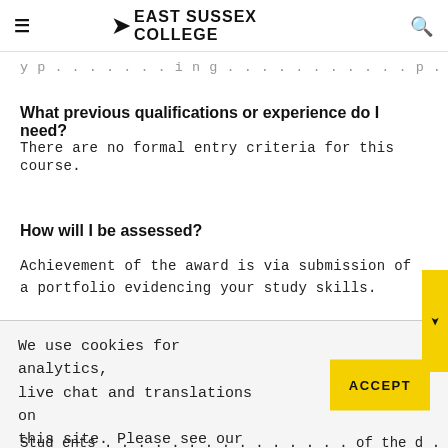EAST SUSSEX COLLEGE
...your progress...
What previous qualifications or experience do I need?
There are no formal entry criteria for this course.
How will I be assessed?
Achievement of the award is via submission of a portfolio evidencing your study skills.
We use cookies for analytics, live chat and translations on this site. Please see our cookies policy for further information.
Students...